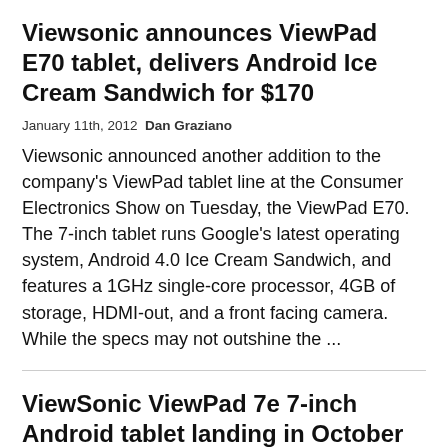Viewsonic announces ViewPad E70 tablet, delivers Android Ice Cream Sandwich for $170
January 11th, 2012  Dan Graziano
Viewsonic announced another addition to the company's ViewPad tablet line at the Consumer Electronics Show on Tuesday, the ViewPad E70. The 7-inch tablet runs Google's latest operating system, Android 4.0 Ice Cream Sandwich, and features a 1GHz single-core processor, 4GB of storage, HDMI-out, and a front facing camera. While the specs may not outshine the ...
ViewSonic ViewPad 7e 7-inch Android tablet landing in October for $200
October 25th, 2011  Todd Haselton